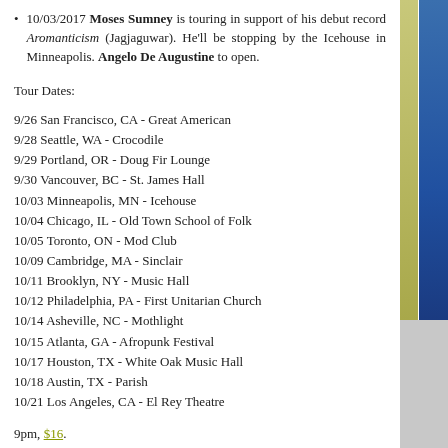10/03/2017 Moses Sumney is touring in support of his debut record Aromanticism (Jagjaguwar). He'll be stopping by the Icehouse in Minneapolis. Angelo De Augustine to open.
Tour Dates:
9/26 San Francisco, CA - Great American
9/28 Seattle, WA - Crocodile
9/29 Portland, OR - Doug Fir Lounge
9/30 Vancouver, BC - St. James Hall
10/03 Minneapolis, MN - Icehouse
10/04 Chicago, IL - Old Town School of Folk
10/05 Toronto, ON - Mod Club
10/09 Cambridge, MA - Sinclair
10/11 Brooklyn, NY - Music Hall
10/12 Philadelphia, PA - First Unitarian Church
10/14 Asheville, NC - Mothlight
10/15 Atlanta, GA - Afropunk Festival
10/17 Houston, TX - White Oak Music Hall
10/18 Austin, TX - Parish
10/21 Los Angeles, CA - El Rey Theatre
9pm, $16.
10/03/2017 Tei Shi will be headlining 7th Street Entry on Tuesday. Dizzy to open.
Tour Dates: